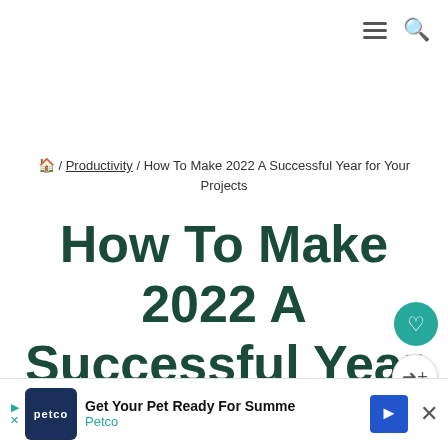≡ 🔍
🏠 / Productivity / How To Make 2022 A Successful Year for Your Projects
How To Make 2022 A Successful Year for Your Projects
By Elizabeth Harrin • Last updated: 7 June, 2022
[Figure (other): Ad banner: Petco — Get Your Pet Ready For Summe / Petco with navigation arrow and close button]